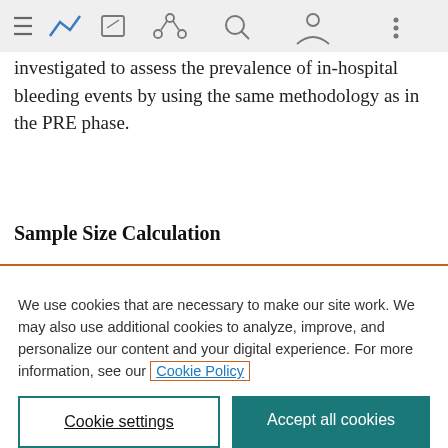[Figure (screenshot): Mobile browser navigation bar with hamburger menu, graph icon (blue), edit icon, share icon, search icon, profile icon, and more options icon]
investigated to assess the prevalence of in-hospital bleeding events by using the same methodology as in the PRE phase.
Sample Size Calculation
We use cookies that are necessary to make our site work. We may also use additional cookies to analyze, improve, and personalize our content and your digital experience. For more information, see our Cookie Policy
Cookie settings
Accept all cookies